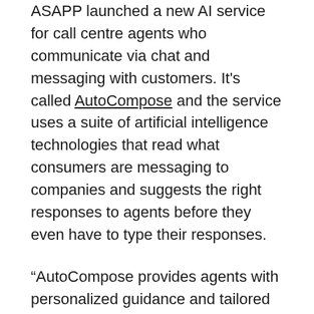ASAPP launched a new AI service for call centre agents who communicate via chat and messaging with customers. It's called AutoCompose and the service uses a suite of artificial intelligence technologies that read what consumers are messaging to companies and suggests the right responses to agents before they even have to type their responses.
“AutoCompose provides agents with personalized guidance and tailored language on how to message with customers, automating 70% of their digital conversations,” said ASAPP CTO Priya Vijayarajendran who joined ASAPP earlier this year from Microsoft where she ran its worldwide data and AI business. “Rigid legacy canned response libraries have little applicability to most conversations… AutoCompose continues to learn over time to deliver the best outcomes for your business,”